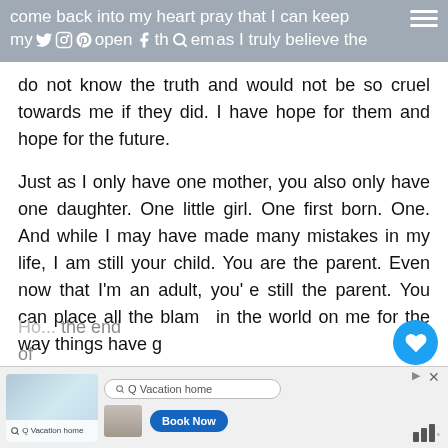come back into my heart pray that I can keep my heart open to them as I truly believe they
do not know the truth and would not be so cruel towards me if they did. I have hope for them and hope for the future.
Just as I only have one mother, you also only have one daughter. One little girl. One first born. One. And while I may have made many mistakes in my life, I am still your child. You are the parent. Even now that I'm an adult, you're still the parent. You can place all the blame in the world on me for the way things have go...
Ho... the end of
[Figure (screenshot): Vacation home advertisement banner at bottom of screen with search box and Book Now button]